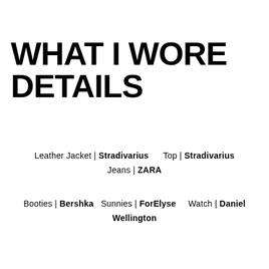WHAT I WORE DETAILS
Leather Jacket | Stradivarius     Top | Stradivarius
Jeans | ZARA
Booties | Bershka   Sunnies | ForElyse     Watch | Daniel Wellington